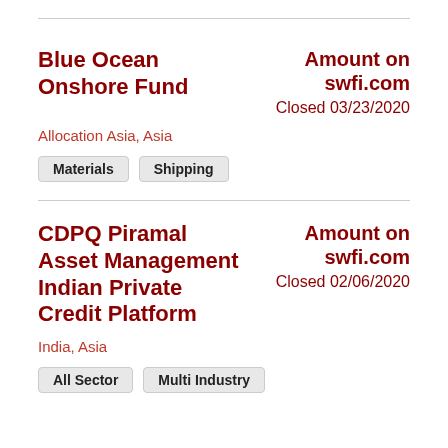Blue Ocean Onshore Fund
Amount on swfi.com
Closed 03/23/2020
Allocation Asia, Asia
Materials
Shipping
CDPQ Piramal Asset Management Indian Private Credit Platform
Amount on swfi.com
Closed 02/06/2020
India, Asia
All Sector
Multi Industry